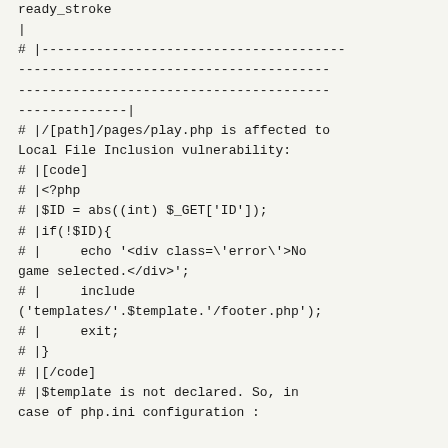ready_stroke
|
# |---------------------------------------------------------------------------------------------------------------------------------------|
# |/[path]/pages/play.php is affected to Local File Inclusion vulnerability:
# |[code]
# |<?php
# |$ID = abs((int) $_GET['ID']);
# |if(!$ID){
# |     echo '<div class=\'error\'>No game selected.</div>';
# |     include ('templates/'.$template.'/footer.php');
# |     exit;
# |}
# |[/code]
# |$template is not declared. So, in case of php.ini configuration :